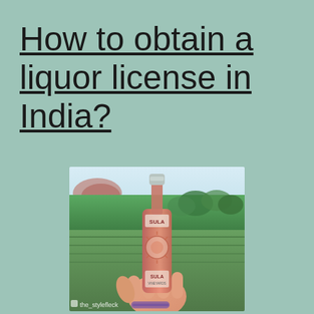How to obtain a liquor license in India?
[Figure (photo): A hand holding a Sula Vineyards wine bottle (rosé) against a vineyard background with green vines and blurred trees. The bottle has Sula branding with a sun face design. Watermark reads 'the_stylefleck'.]